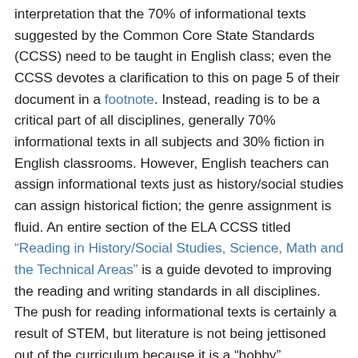interpretation that the 70% of informational texts suggested by the Common Core State Standards (CCSS) need to be taught in English class; even the CCSS devotes a clarification to this on page 5 of their document in a footnote. Instead, reading is to be a critical part of all disciplines, generally 70% informational texts in all subjects and 30% fiction in English classrooms. However, English teachers can assign informational texts just as history/social studies can assign historical fiction; the genre assignment is fluid. An entire section of the ELA CCSS titled “Reading in History/Social Studies, Science, Math and the Technical Areas” is a guide devoted to improving the reading and writing standards in all disciplines. The push for reading informational texts is certainly a result of STEM, but literature is not being jettisoned out of the curriculum because it is a “hobby”.